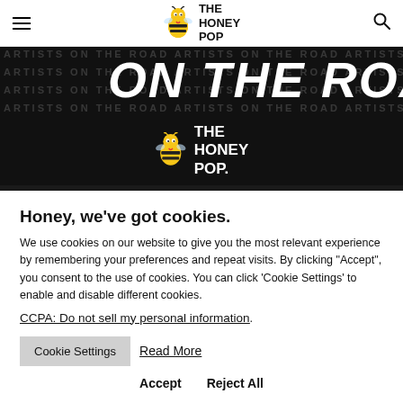THE HONEY POP — navigation header with menu and search icons
[Figure (illustration): Dark banner image with 'ON THE ROAD' large italic white text overlaid on repeated 'ARTISTS ON THE ROAD' background text, with The Honey Pop logo centered at bottom]
Honey, we've got cookies.
We use cookies on our website to give you the most relevant experience by remembering your preferences and repeat visits. By clicking "Accept", you consent to the use of cookies. You can click 'Cookie Settings' to enable and disable different cookies.
CCPA: Do not sell my personal information.
Cookie Settings
Read More
Accept
Reject All